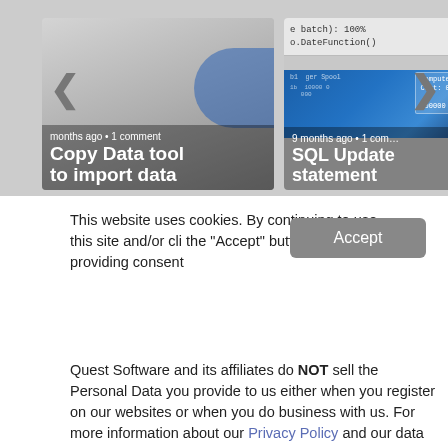[Figure (screenshot): Carousel showing two content cards: 'Copy Data tool to import data' and 'SQL Update statement' with navigation arrows on left and right]
This website uses cookies. By continuing to use this site and/or cli the "Accept" button you are providing consent
Quest Software and its affiliates do NOT sell the Personal Data you provide to us either when you register on our websites or when you do business with us. For more information about our Privacy Policy and our data protection efforts, please visit GDPR-HQ